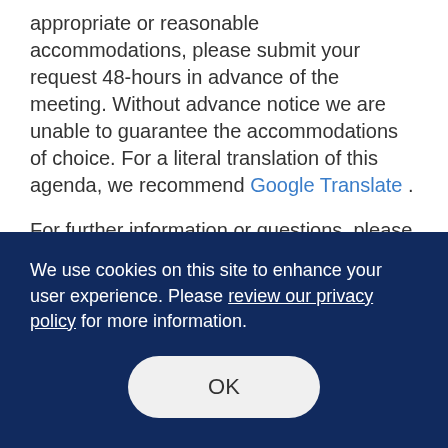appropriate or reasonable accommodations, please submit your request 48-hours in advance of the meeting. Without advance notice we are unable to guarantee the accommodations of choice. For a literal translation of this agenda, we recommend Google Translate .
For further information or questions, please contact the Governing Board Assistant at (480) 731-8125.
Board Book(s)
We use cookies on this site to enhance your user experience. Please review our privacy policy for more information.